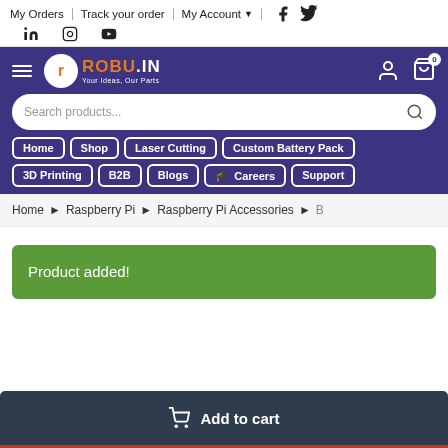My Orders | Track your order | My Account
[Figure (screenshot): Robu.in e-commerce website header with navigation, search bar, category buttons, breadcrumb showing Home > Raspberry Pi > Raspberry Pi Accessories, a green Product added! banner, and an Add to cart button at the bottom.]
Product added!
Add to cart